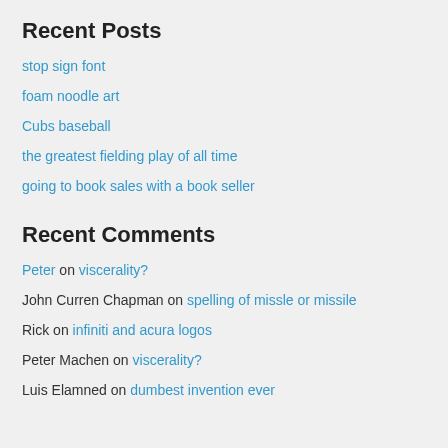Recent Posts
stop sign font
foam noodle art
Cubs baseball
the greatest fielding play of all time
going to book sales with a book seller
Recent Comments
Peter on viscerality?
John Curren Chapman on spelling of missle or missile
Rick on infiniti and acura logos
Peter Machen on viscerality?
Luis Elamned on dumbest invention ever